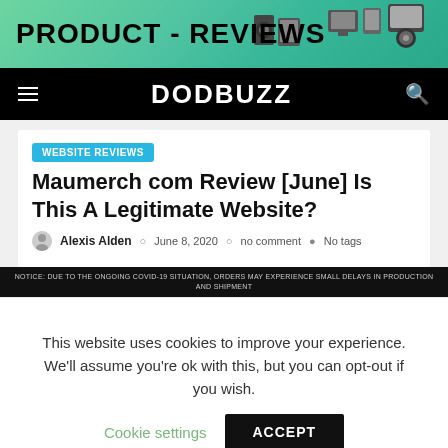[Figure (screenshot): Product Reviews banner with green gradient background and electronics images on the right]
DODBUZZ
WEBSITE REVIEWS
Maumerch com Review [June] Is This A Legitimate Website?
Alexis Alden  June 8, 2020  no comment  No tags
[Figure (screenshot): Dark notice bar: NOTICE: DUE TO THE ONGOING COVID-19 SITUATION, ORDERS MAY EXPERIENCE SMALL DELAYS IN PRODUCTION AND SHIPMENT]
This website uses cookies to improve your experience. We'll assume you're ok with this, but you can opt-out if you wish.
Cookie settings   ACCEPT